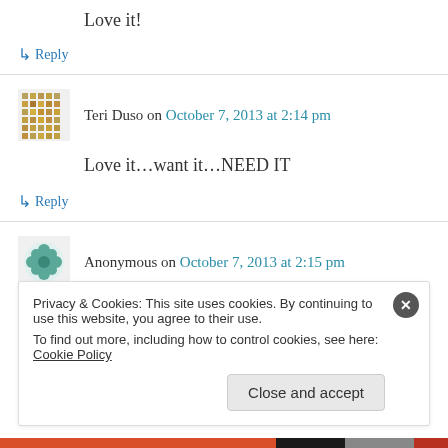Love it!
↳ Reply
Teri Duso on October 7, 2013 at 2:14 pm
Love it…want it…NEED IT
↳ Reply
Anonymous on October 7, 2013 at 2:15 pm
Privacy & Cookies: This site uses cookies. By continuing to use this website, you agree to their use. To find out more, including how to control cookies, see here: Cookie Policy
Close and accept